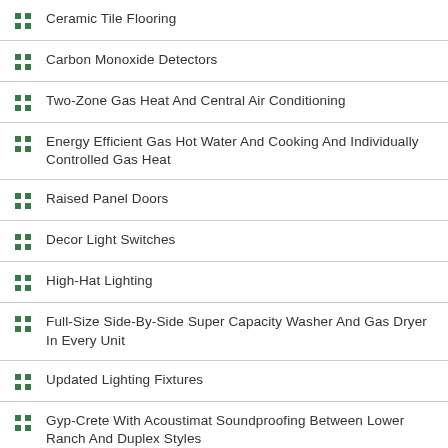Ceramic Tile Flooring
Carbon Monoxide Detectors
Two-Zone Gas Heat And Central Air Conditioning
Energy Efficient Gas Hot Water And Cooking And Individually Controlled Gas Heat
Raised Panel Doors
Decor Light Switches
High-Hat Lighting
Full-Size Side-By-Side Super Capacity Washer And Gas Dryer In Every Unit
Updated Lighting Fixtures
Gyp-Crete With Acoustimat Soundproofing Between Lower Ranch And Duplex Styles
Intercom Feature To Entry Door And Master Bedroom~All Duplex Styles
Interior Alarm Or Personal...